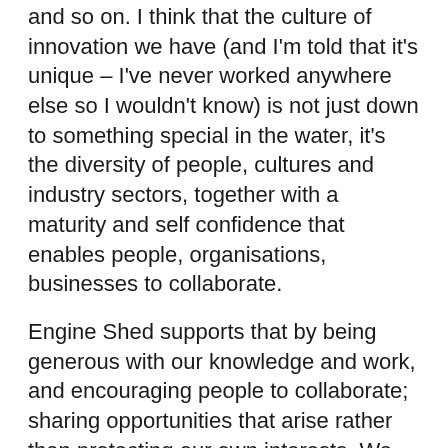and so on. I think that the culture of innovation we have (and I'm told that it's unique – I've never worked anywhere else so I wouldn't know) is not just down to something special in the water, it's the diversity of people, cultures and industry sectors, together with a maturity and self confidence that enables people, organisations, businesses to collaborate.
Engine Shed supports that by being generous with our knowledge and work, and encouraging people to collaborate; sharing opportunities that arise rather than protecting our own interests. We hope that nurtures the collaborative, innovative, and independent spirit.
Competition is good, it encourages and incentivises innovation. In Bristol & Bath, I think we have a very grown-up sense of competition – working together to retain our market share of a bigger pie, so to speak. If competitors fight each other for market share, it's